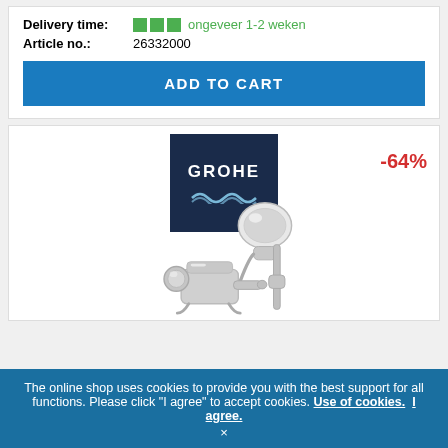Delivery time: ■■■ ongeveer 1-2 weken
Article no.: 26332000
ADD TO CART
[Figure (logo): GROHE brand logo on dark navy background with wave motif]
-64%
[Figure (photo): Chrome bath faucet and handheld shower head on rail product photo]
The online shop uses cookies to provide you with the best support for all functions. Please click "I agree" to accept cookies. Use of cookies. I agree.